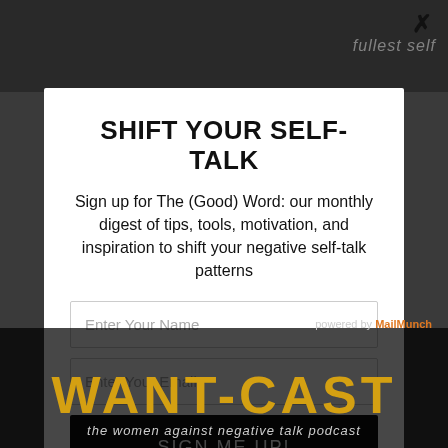[Figure (screenshot): Dark background web page with partially visible podcast imagery and text]
SHIFT YOUR SELF-TALK
Sign up for The (Good) Word: our monthly digest of tips, tools, motivation, and inspiration to shift your negative self-talk patterns
Enter Your Name
Enter Your Email
SIGN ME UP!
powered by MailMunch